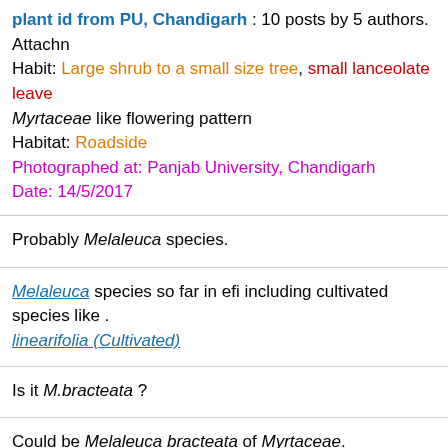plant id from PU, Chandigarh : 10 posts by 5 authors. Attachn Habit: Large shrub to a small size tree, small lanceolate leave Myrtaceae like flowering pattern Habitat: Roadside Photographed at: Panjab University, Chandigarh Date: 14/5/2017
Probably Melaleuca species.
Melaleuca species so far in efi including cultivated species like linearifolia (Cultivated)
Is it M.bracteata ?
Could be Melaleuca bracteata of Myrtaceae.
It appears to be photographed in the Botanical Garden of Pa Chandigarh. They have introduced only one species of Mela leucadendra. That is a big tree with whitish papery It can be young one of the same species. PU Botar catalogued its collections and M. bracteata does not find its p